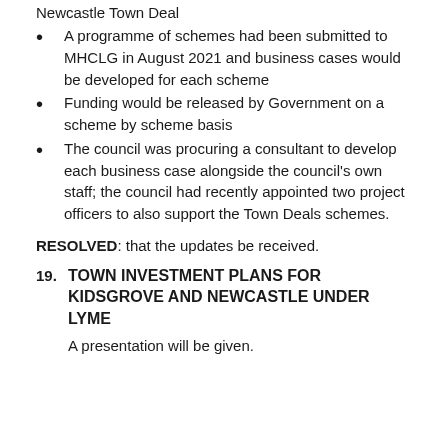Newcastle Town Deal
A programme of schemes had been submitted to MHCLG in August 2021 and business cases would be developed for each scheme
Funding would be released by Government on a scheme by scheme basis
The council was procuring a consultant to develop each business case alongside the council's own staff; the council had recently appointed two project officers to also support the Town Deals schemes.
RESOLVED: that the updates be received.
19. TOWN INVESTMENT PLANS FOR KIDSGROVE AND NEWCASTLE UNDER LYME
A presentation will be given.